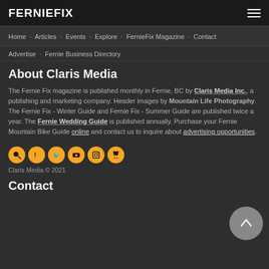FernieFix
Home · Articles · Events · Explore · FernieFix Magazine · Contact
Advertise · Fernie Business Directory
About Claris Media
The Fernie Fix magazine is published monthly in Fernie, BC by Claris Media Inc., a publishing and marketing company. Header images by Mountain Life Photography. The Fernie Fix - Winter Guide and Fernie Fix - Summer Guide are published twice a year. The Fernie Wedding Guide is published annually. Purchase your Fernie Mountain Bike Guide online and contact us to inquire about advertising opportunities.
Claris Media © 2021
Contact